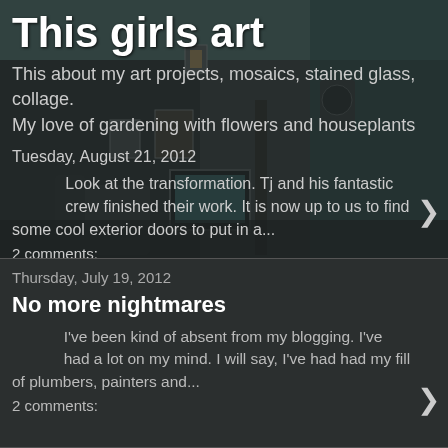[Figure (photo): Dark moody interior room with old furniture, framed pictures on wall, vintage TV, atmospheric dim lighting]
This girls art
This about my art projects, mosaics, stained glass, collage. My love of gardening with flowers and houseplants
Tuesday, August 21, 2012
Look at the transformation. Tj and his fantastic crew finished their work. It is now up to us to find some cool exterior doors to put in a...
2 comments:
Thursday, July 19, 2012
No more nightmares
I've been kind of absent from my blogging. I've had a lot on my mind. I will say, I've had had my fill of plumbers, painters and...
2 comments: